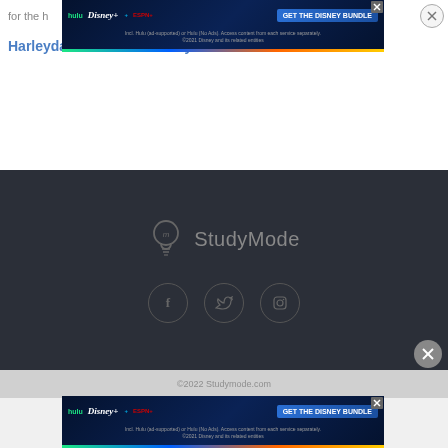for the h...
Harleydavidson Case Study
[Figure (screenshot): Disney Bundle advertisement banner at top of page]
[Figure (logo): StudyMode logo with lightbulb icon and social media icons (Facebook, Twitter, Instagram) on dark background]
©2022 Studymode.com
[Figure (screenshot): Disney Bundle advertisement banner at bottom of page]